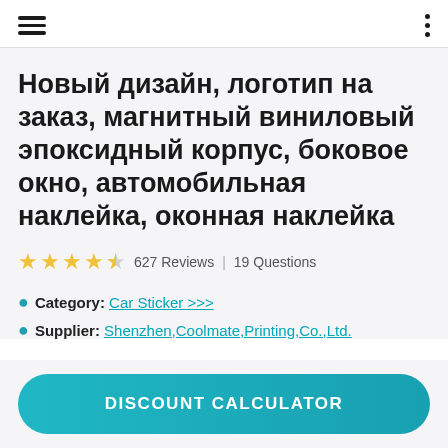Navigation header with hamburger menu and options dots
Новый дизайн, логотип на заказ, магнитный виниловый эпоксидный корпус, боковое окно, автомобильная наклейка, оконная наклейка
★★★★½  627 Reviews  |  19 Questions
Category: Car Sticker >>>
Supplier: Shenzhen,Coolmate,Printing,Co.,Ltd.
DISCOUNT CALCULATOR